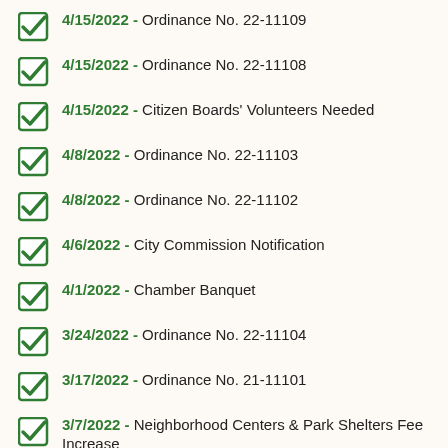4/15/2022 - Ordinance No. 22-11109
4/15/2022 - Ordinance No. 22-11108
4/15/2022 - Citizen Boards' Volunteers Needed
4/8/2022 - Ordinance No. 22-11103
4/8/2022 - Ordinance No. 22-11102
4/6/2022 - City Commission Notification
4/1/2022 - Chamber Banquet
3/24/2022 - Ordinance No. 22-11104
3/17/2022 - Ordinance No. 21-11101
3/7/2022 - Neighborhood Centers & Park Shelters Fee Increase
3/7/2022 - Kenwood Cove Aquatic Park Fee Changes
3/2/2022 - Ordinance No. 22-11100
2/18/2022 - Commission Special Meeting